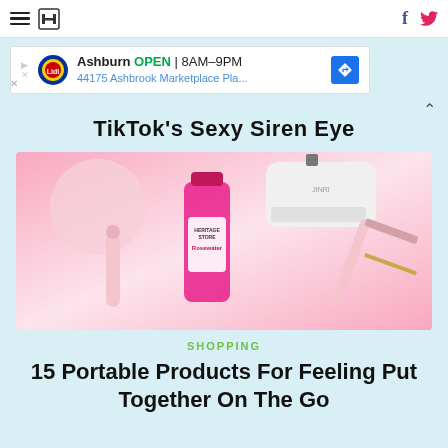HuffPost navigation with hamburger menu, logo, Facebook and Twitter icons
[Figure (screenshot): Advertisement banner: Lidl store - Ashburn OPEN 8AM-9PM, 44175 Ashbrook Marketplace Pla... with navigation icon]
TikTok's Sexy Siren Eye
[Figure (photo): Product flatlay on pink background: handheld fan, rosewater spray bottle (Heritage Store Rosewater), portable white device, and pink derma roller/facial tool]
SHOPPING
15 Portable Products For Feeling Put Together On The Go